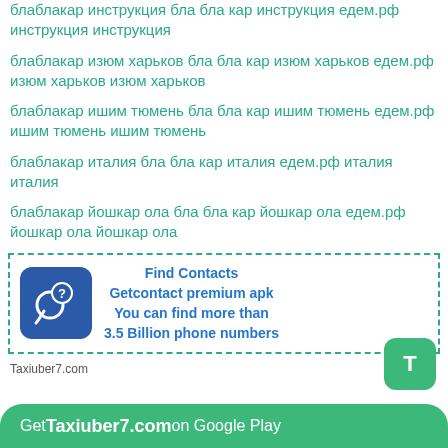блаблакар инструкция бла бла кар инструкция едем.рф инструкция инструкция
блаблакар изюм харьков бла бла кар изюм харьков едем.рф изюм харьков изюм харьков
блаблакар ишим тюмень бла бла кар ишим тюмень едем.рф ишим тюмень ишим тюмень
блаблакар италия бла бла кар италия едем.рф италия италия
блаблакар йошкар ола бла бла кар йошкар ола едем.рф йошкар ола йошкар ола
[Figure (infographic): Ad box with blue phone icon and text: Find Contacts, Getcontact premium apk, You can find more than 3.5 Billion phone numbers]
Taxiuber7.com
Get Taxiuber7.com on Google Play